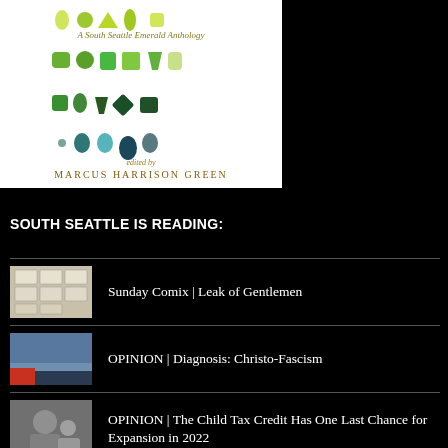[Figure (illustration): Book cover for 'A South Seattle Emerald Anthology' edited by Marcus Harrison Green, featuring various green gemstone illustrations on a white background.]
SOUTH SEATTLE IS READING:
Sunday Comix | Leak of Gentlemen
OPINION | Diagnosis: Christo-Fascism
OPINION | The Child Tax Credit Has One Last Chance for Expansion in 2022